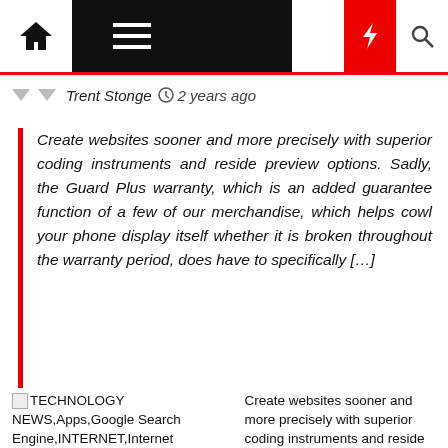Navigation bar with home, menu, moon, bolt, search icons
Trent Stonge · 2 years ago
Create websites sooner and more precisely with superior coding instruments and reside preview options. Sadly, the Guard Plus warranty, which is an added guarantee function of a few of our merchandise, which helps cowl your phone display itself whether it is broken throughout the warranty period, does have to specifically […]
TECHNOLOGY NEWS,Apps,Google Search Engine,INTERNET,Internet Marketing,Internet Technology,MOBILE AND COMPUTING,Gadget News,Gadget Flop,Gadget...
Create websites sooner and more precisely with superior coding instruments and reside preview options. Sadly...